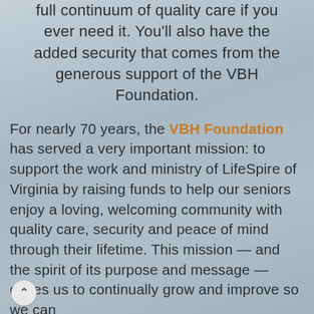full continuum of quality care if you ever need it. You'll also have the added security that comes from the generous support of the VBH Foundation.
For nearly 70 years, the VBH Foundation has served a very important mission: to support the work and ministry of LifeSpire of Virginia by raising funds to help our seniors enjoy a loving, welcoming community with quality care, security and peace of mind through their lifetime. This mission — and the spirit of its purpose and message — drives us to continually grow and improve so we can